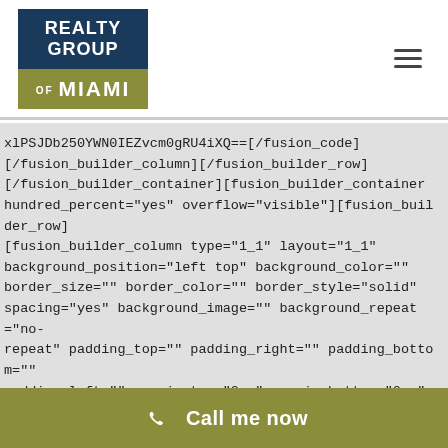[Figure (logo): Realty Group of Miami logo — dark blue top section with 'REALTY GROUP' text, olive/gold bottom section with 'MIAMI' text]
xlPSJDb250YWN0IEZvcm0gRU4iXQ==[/fusion_code][/fusion_builder_column][/fusion_builder_row][/fusion_builder_container][fusion_builder_container hundred_percent="yes" overflow="visible"][fusion_builder_row][fusion_builder_column type="1_1" layout="1_1" background_position="left top" background_color="" border_size="" border_color="" border_style="solid" spacing="yes" background_image="" background_repeat="no-repeat" padding_top="" padding_right="" padding_bottom="" padding_left="" margin_top="0px" margin_bottom="0px" class="" id="" animation_type="" animation_speed="0.3" animation_direction="left" hide_on_mobile="no"
Call me now